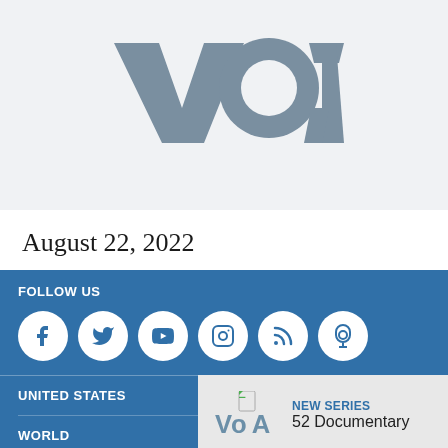[Figure (logo): VOA (Voice of America) logo in dark gray on light gray background]
August 22, 2022
FOLLOW US
[Figure (other): Social media icons: Facebook, Twitter, YouTube, Instagram, RSS, Podcast - white circles on blue background]
UNITED STATES
WORLD
[Figure (logo): VOA logo small with document icon overlay]
NEW SERIES
52 Documentary